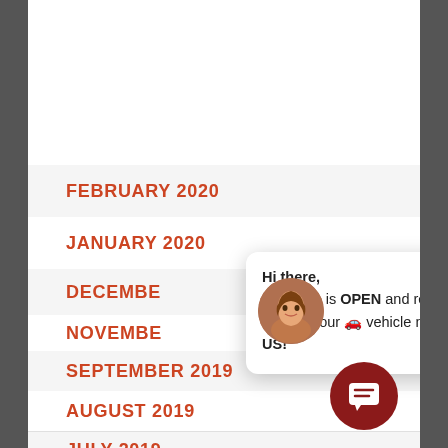FEBRUARY 2020
JANUARY 2020
DECEMBER
NOVEMBER
SEPTEMBER 2019
AUGUST 2019
JULY 2019
[Figure (screenshot): Chat popup overlay showing a woman's avatar photo and message: 'Hi there, Our shop is OPEN and ready to service your vehicle needs. TEXT US!' with a close X button]
[Figure (other): Dark red circular chat icon button in bottom right corner]